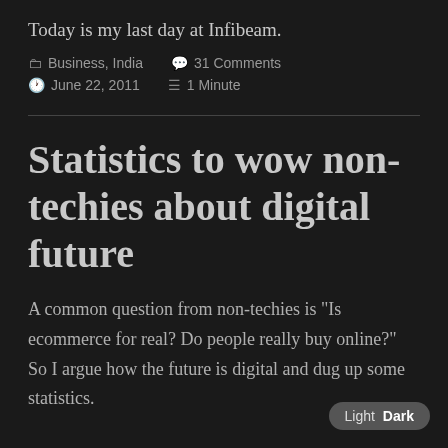Today is my last day at Infibeam.
Business, India   31 Comments   June 22, 2011   1 Minute
Statistics to wow non-techies about digital future
A common question from non-techies is "Is ecommerce for real? Do people really buy online?" So I argue how the future is digital and dug up some statistics.